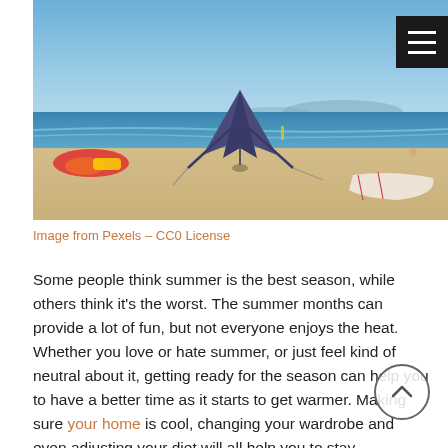[Figure (photo): A sunny beach scene with sandy shore, blue ocean water, a dark star-shaped canopy/shade tent in the center, colorful items on the left, and a white beach towel on the right. Mountains visible in the background on the horizon.]
Image from Pexels – CC0 License
Some people think summer is the best season, while others think it's the worst. The summer months can provide a lot of fun, but not everyone enjoys the heat. Whether you love or hate summer, or just feel kind of neutral about it, getting ready for the season can help you to have a better time as it starts to get warmer. Making sure your home is cool, changing your wardrobe and even adjusting your diet will all help you to stay comfortable